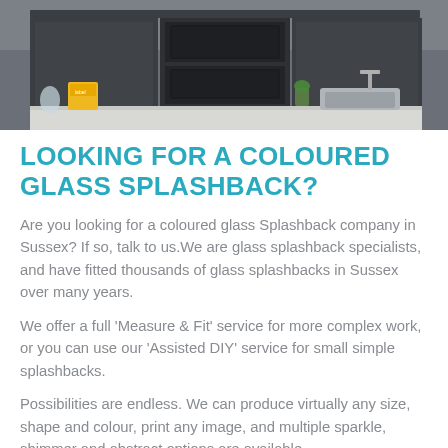[Figure (photo): Kitchen photo showing dark grey cabinets, built-in ovens, a sink, and kitchen countertop items including a yellow box and utensils]
LOOKING FOR A COLOURED GLASS SPLASHBACK?
Are you looking for a coloured glass Splashback company in Sussex? If so, talk to us.We are glass splashback specialists, and have fitted thousands of glass splashbacks in Sussex over many years.
We offer a full 'Measure & Fit' service for more complex work, or you can use our 'Assisted DIY' service for small simple splashbacks.
Possibilities are endless. We can produce virtually any size, shape and colour, print any image, and multiple sparkle, shimmer and abstract options are available.